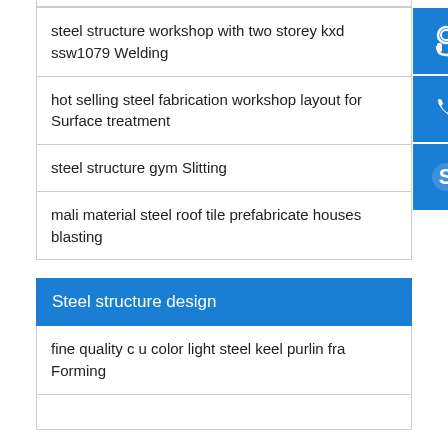steel structure workshop with two storey kxd ssw1079 Welding
hot selling steel fabrication workshop layout for Surface treatment
steel structure gym Slitting
mali material steel roof tile prefabricate houses blasting
Steel structure design
fine quality c u color light steel keel purlin fra Forming